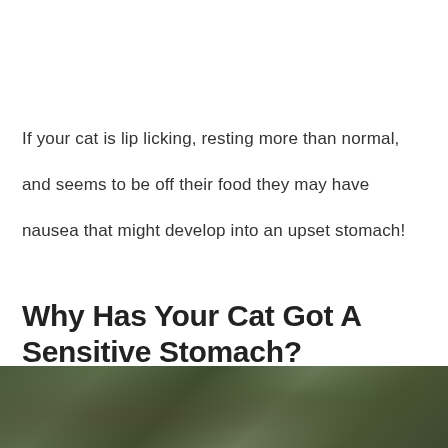If your cat is lip licking, resting more than normal, and seems to be off their food they may have nausea that might develop into an upset stomach!
Why Has Your Cat Got A Sensitive Stomach?
[Figure (photo): Blurred outdoor photo of a cat or nature scene with dark green and brown tones, partially cropped at bottom of page]